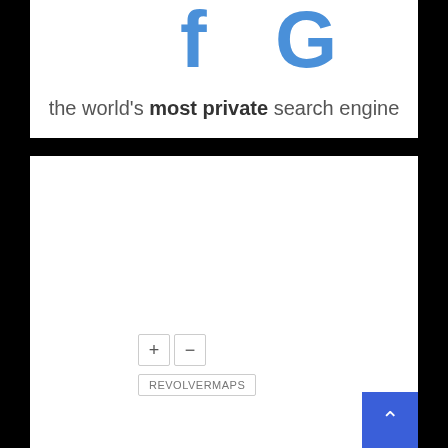the world's most private search engine
[Figure (screenshot): Map area showing a mostly blank white map with zoom controls (+/-) and a REVOLVERMAPS label in the lower left area]
[Figure (other): Blue back-to-top button with upward arrow chevron in bottom right corner]